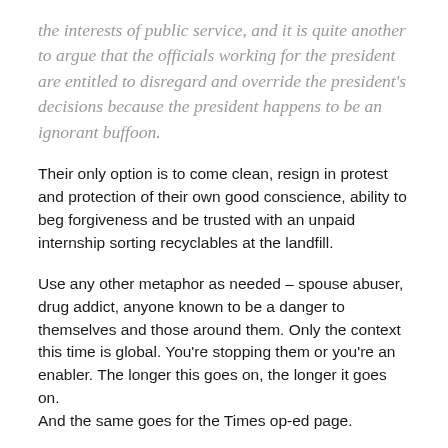the interests of public service, and it is quite another to argue that the officials working for the president are entitled to disregard and override the president's decisions because the president happens to be an ignorant buffoon.
Their only option is to come clean, resign in protest and protection of their own good conscience, ability to beg forgiveness and be trusted with an unpaid internship sorting recyclables at the landfill.
Use any other metaphor as needed – spouse abuser, drug addict, anyone known to be a danger to themselves and those around them. Only the context this time is global. You're stopping them or you're an enabler. The longer this goes on, the longer it goes on. And the same goes for the Times op-ed page.